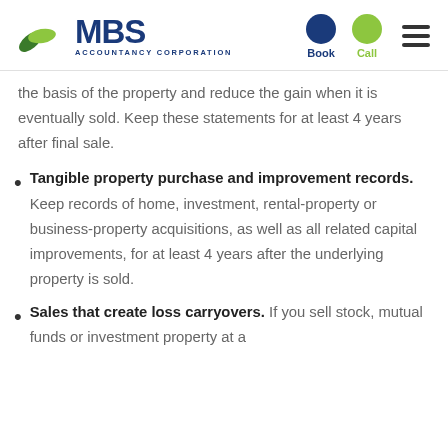MBS Accountancy Corporation — Book | Call
the basis of the property and reduce the gain when it is eventually sold. Keep these statements for at least 4 years after final sale.
Tangible property purchase and improvement records. Keep records of home, investment, rental-property or business-property acquisitions, as well as all related capital improvements, for at least 4 years after the underlying property is sold.
Sales that create loss carryovers. If you sell stock, mutual funds or investment property at a